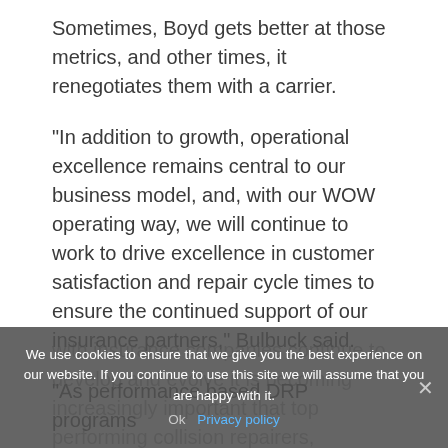Sometimes, Boyd gets better at those metrics, and other times, it renegotiates them with a carrier.
“In addition to growth, operational excellence remains central to our business model, and, with our WOW operating way, we will continue to work to drive excellence in customer satisfaction and repair cycle times to ensure the continued support of our insurance partners,” Bulbuck said.
“As performance based DRP programs with insurance companies continue to develop and evolve it is becoming increasingly important that top performing collision repairers, including Boyd, continue to drive
We use cookies to ensure that we give you the best experience on our website. If you continue to use this site we will assume that you are happy with it.